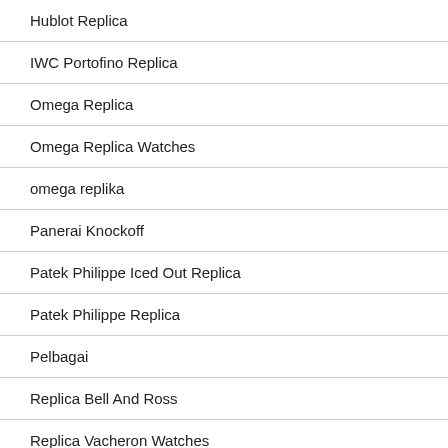Hublot Replica
IWC Portofino Replica
Omega Replica
Omega Replica Watches
omega replika
Panerai Knockoff
Patek Philippe Iced Out Replica
Patek Philippe Replica
Pelbagai
Replica Bell And Ross
Replica Vacheron Watches